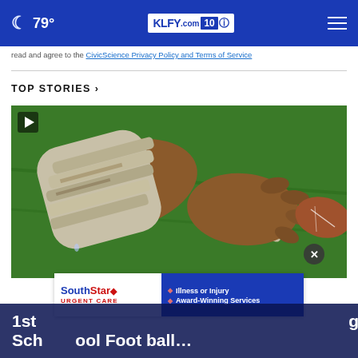79° KLFY.com 10
read and agree to the CivicScience Privacy Policy and Terms of Service
TOP STORIES ›
[Figure (photo): Close-up of a football player's taped wrist and hand gripping a football on a green turf field]
[Figure (other): SouthStar Urgent Care advertisement banner: Illness or Injury, Award-Winning Services]
1st … gh
Sch…ool Foot ball…